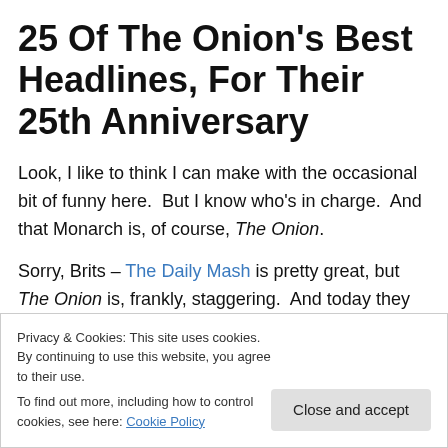25 Of The Onion's Best Headlines, For Their 25th Anniversary
Look, I like to think I can make with the occasional bit of funny here.  But I know who's in charge.  And that Monarch is, of course, The Onion.
Sorry, Brits – The Daily Mash is pretty great, but The Onion is, frankly, staggering.  And today they are 25 years old.  So, to celebrate in the best way I know how (by lazily
Privacy & Cookies: This site uses cookies. By continuing to use this website, you agree to their use.
To find out more, including how to control cookies, see here: Cookie Policy
Close and accept